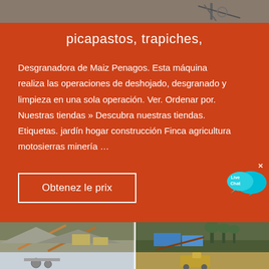[Figure (photo): Top strip of a photo showing industrial or agricultural machinery, partial view]
picapastos, trapiches,
Desgranadora de Maiz Penagos. Esta máquina realiza las operaciones de deshojado, desgranado y limpieza en una sola operación. Ver. Ordenar por. Nuestras tiendas » Descubra nuestras tiendas. Etiquetas. jardín hogar construcción Finca agricultura motosierras minería …
[Figure (illustration): Live Chat bubble icon with cyan speech bubbles and 'Live Chat' text]
Obtenez le prix
[Figure (photo): Two industrial stone crusher / quarry site photos side by side showing conveyor belts and machinery]
[Figure (photo): Two photos of mining or quarry sites partially visible at bottom of page]